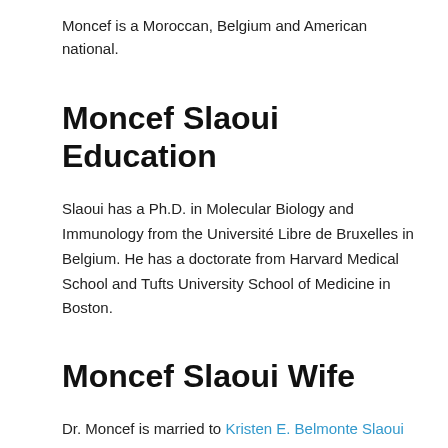Moncef is a Moroccan, Belgium and American national.
Moncef Slaoui Education
Slaoui has a Ph.D. in Molecular Biology and Immunology from the Université Libre de Bruxelles in Belgium. He has a doctorate from Harvard Medical School and Tufts University School of Medicine in Boston.
Moncef Slaoui Wife
Dr. Moncef is married to Kristen E. Belmonte Slaoui who is the Vice President and Head of Business Development for GlaxoSmithKline's (GSK) Pharmaceuticals Commercial Portfolio. She joined GSK's Business Development team in